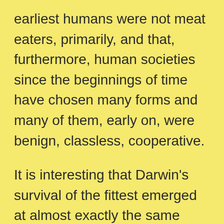earliest humans were not meat eaters, primarily, and that, furthermore, human societies since the beginnings of time have chosen many forms and many of them, early on, were benign, classless, cooperative.

It is interesting that Darwin's survival of the fittest emerged at almost exactly the same time that European nations were busy colonizing (and had been colonizing) vast swaths of the earth. One might even argue that this thesis was justifying